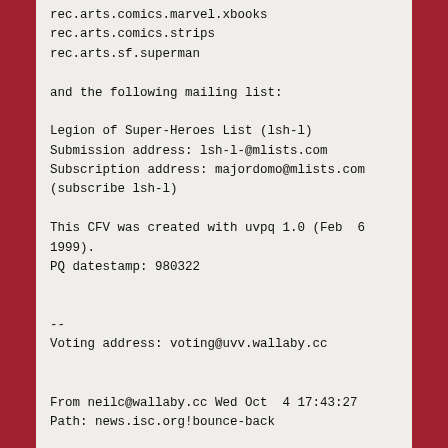rec.arts.comics.marvel.xbooks
rec.arts.comics.strips
rec.arts.sf.superman
and the following mailing list:
Legion of Super-Heroes List (lsh-l)
Submission address: lsh-l-@mlists.com
Subscription address: majordomo@mlists.com
(subscribe lsh-l)
This CFV was created with uvpq 1.0 (Feb  6 1999).
PQ datestamp: 980322
--
Voting address: voting@uvv.wallaby.cc
From neilc@wallaby.cc Wed Oct  4 17:43:27
Path: news.isc.org!bounce-back